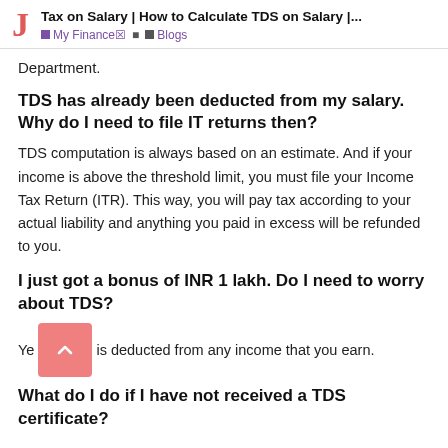Tax on Salary | How to Calculate TDS on Salary |... | My Finance☒ | Blogs
Department.
TDS has already been deducted from my salary. Why do I need to file IT returns then?
TDS computation is always based on an estimate. And if your income is above the threshold limit, you must file your Income Tax Return (ITR). This way, you will pay tax according to your actual liability and anything you paid in excess will be refunded to you.
I just got a bonus of INR 1 lakh. Do I need to worry about TDS?
Yes, TDS is deducted from any income that you earn.
What do I do if I have not received a TDS certificate?